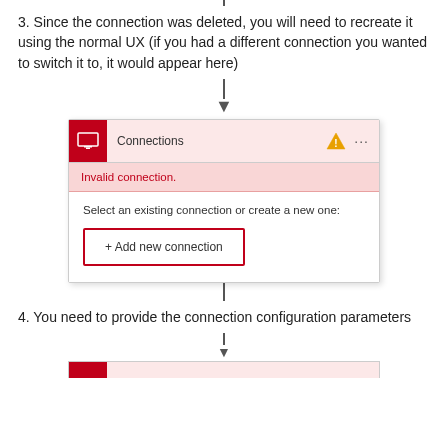3. Since the connection was deleted, you will need to recreate it using the normal UX (if you had a different connection you wanted to switch it to, it would appear here)
[Figure (screenshot): UI card showing a 'Connections' panel with a red icon, warning triangle, 'Invalid connection.' error in pink, and a '+ Add new connection' button with red border]
4. You need to provide the connection configuration parameters